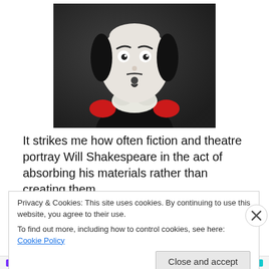[Figure (photo): Black and white photo of a Shakespeare hand puppet/doll with white face, black hair, small mustache and beard, white ruffled collar, wearing black costume with red shoulder patches]
It strikes me how often fiction and theatre portray Will Shakespeare in the act of absorbing his materials rather than creating them.
Privacy & Cookies: This site uses cookies. By continuing to use this website, you agree to their use.
To find out more, including how to control cookies, see here: Cookie Policy
Close and accept